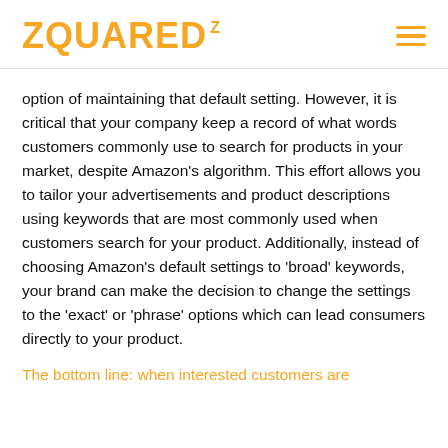ZQUARED²
option of maintaining that default setting. However, it is critical that your company keep a record of what words customers commonly use to search for products in your market, despite Amazon's algorithm. This effort allows you to tailor your advertisements and product descriptions using keywords that are most commonly used when customers search for your product. Additionally, instead of choosing Amazon's default settings to 'broad' keywords, your brand can make the decision to change the settings to the 'exact' or 'phrase' options which can lead consumers directly to your product.
The bottom line: when interested customers are